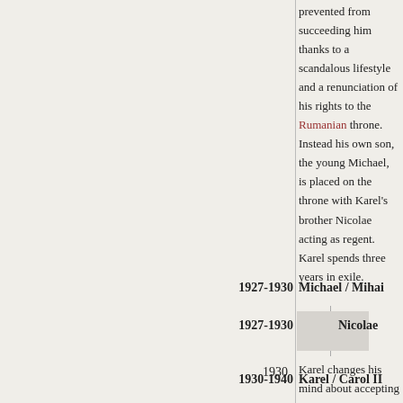prevented from succeeding him thanks to a scandalous lifestyle and a renunciation of his rights to the Rumanian throne. Instead his own son, the young Michael, is placed on the throne with Karel's brother Nicolae acting as regent. Karel spends three years in exile.
1927-1930  Michael / Mihai
1927-1930  Nicolae
1930  Karel changes his mind about accepting exile and returns to Rumania. With the support of the governing National Peasants' Party he proclaims himself king, effectively deposing his own son. This is despite having permanently signed away any right to rule in official documents which had been written and signed in front of his own father.
1930-1940  Karel / Carol II